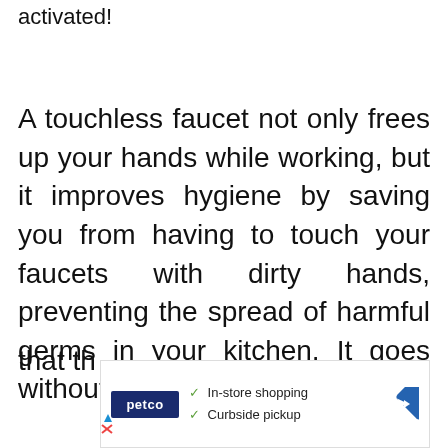activated!
A touchless faucet not only frees up your hands while working, but it improves hygiene by saving you from having to touch your faucets with dirty hands, preventing the spread of harmful germs in your kitchen. It goes without saying that they do not...
[Figure (infographic): Petco advertisement showing logo, checkmarks for In-store shopping and Curbside pickup, and a blue navigation arrow icon]